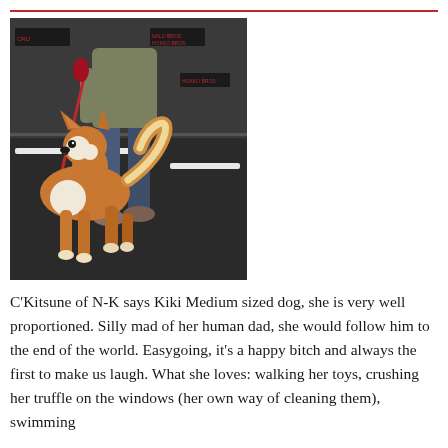[Figure (photo): A Shiba Inu dog standing in profile at a dog show, on a dark floor. The dog has orange/tan and white coloring with a curled tail. A person in jeans and a grey-green top holds a red leash. Dog show signage is visible in the background.]
C'Kitsune of N-K says Kiki Medium sized dog, she is very well proportioned. Silly mad of her human dad, she would follow him to the end of the world. Easygoing, it's a happy bitch and always the first to make us laugh. What she loves: walking her toys, crushing her truffle on the windows (her own way of cleaning them), swimming